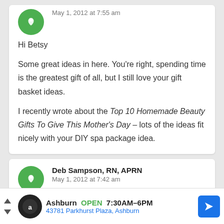May 1, 2012 at 7:55 am
Hi Betsy

Some great ideas in here. You're right, spending time is the greatest gift of all, but I still love your gift basket ideas.

I recently wrote about the Top 10 Homemade Beauty Gifts To Give This Mother's Day – lots of the ideas fit nicely with your DIY spa package idea.
Deb Sampson, RN, APRN
May 1, 2012 at 7:42 am
Ashburn OPEN 7:30AM–6PM 43781 Parkhurst Plaza, Ashburn